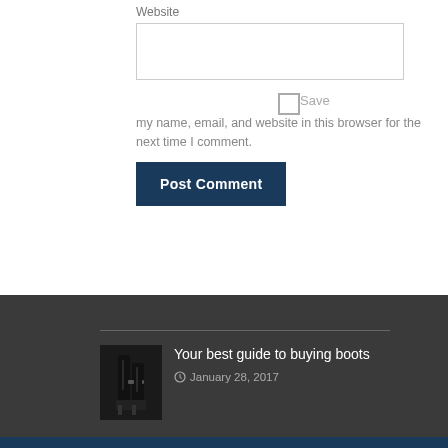Website
Save my name, email, and website in this browser for the next time I comment.
Post Comment
Your best guide to buying boots
January 28, 2017